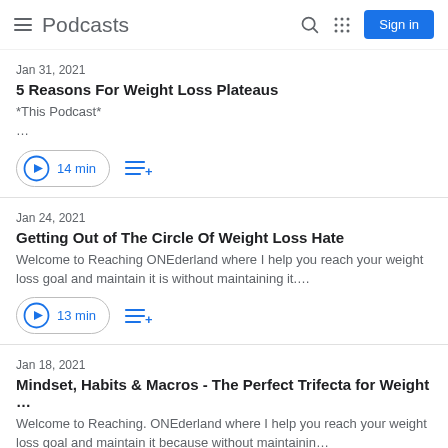Podcasts
Jan 31, 2021
5 Reasons For Weight Loss Plateaus
*This Podcast*
...
14 min
Jan 24, 2021
Getting Out of The Circle Of Weight Loss Hate
Welcome to Reaching ONEderland where I help you reach your weight loss goal and maintain it is without maintaining it....
13 min
Jan 18, 2021
Mindset, Habits & Macros - The Perfect Trifecta for Weight ...
Welcome to Reaching. ONEderland where I help you reach your weight loss goal and maintain it because without maintainin...